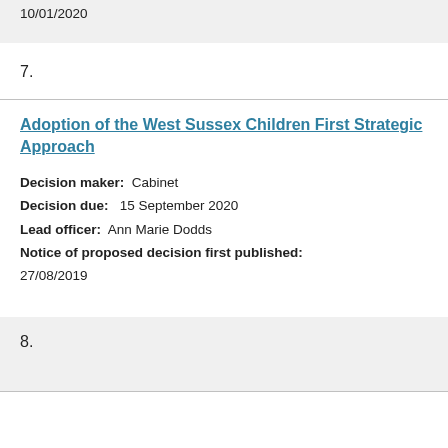10/01/2020
7.
Adoption of the West Sussex Children First Strategic Approach
Decision maker: Cabinet
Decision due: 15 September 2020
Lead officer: Ann Marie Dodds
Notice of proposed decision first published: 27/08/2019
8.